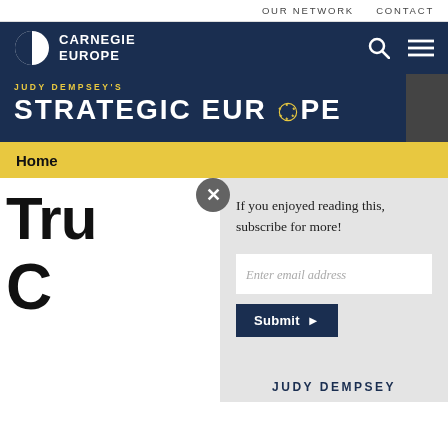OUR NETWORK   CONTACT
[Figure (logo): Carnegie Europe logo with half-circle icon and text 'CARNEGIE EUROPE']
JUDY DEMPSEY'S STRATEGIC EUROPE
Home
Tru C
If you enjoyed reading this, subscribe for more!
Enter email address
Submit ▶
JUDY DEMPSEY